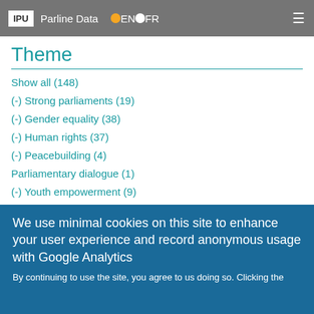IPU Parline Data EN FR
Theme
Show all (148)
(-) Strong parliaments (19)
(-) Gender equality (38)
(-) Human rights (37)
(-) Peacebuilding (4)
Parliamentary dialogue (1)
(-) Youth empowerment (9)
(-) Sustainable development (17)
Global governance (4)
(-) Climate change (2)
Health (14)
Migration (3)
We use minimal cookies on this site to enhance your user experience and record anonymous usage with Google Analytics
By continuing to use the site, you agree to us doing so. Clicking the